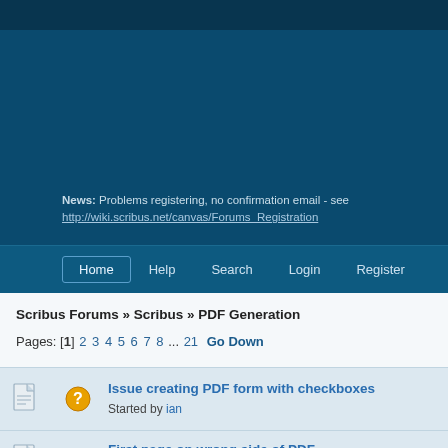News: Problems registering, no confirmation email - see http://wiki.scribus.net/canvas/Forums_Registration
Home  Help  Search  Login  Register
Scribus Forums » Scribus » PDF Generation
Pages: [1] 2 3 4 5 6 7 8 ... 21  Go Down
Issue creating PDF form with checkboxes
Started by ian
First page on wrong side of PDF
Started by discus277 « 1 2 »